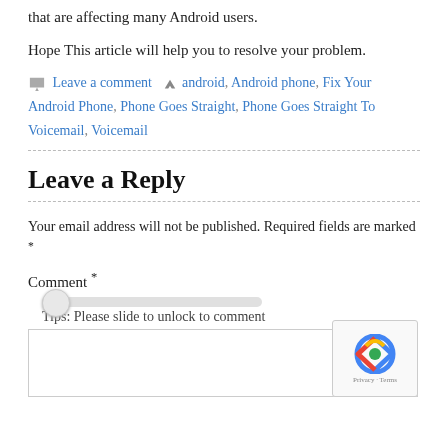that are affecting many Android users.
Hope This article will help you to resolve your problem.
Leave a comment   android, Android phone, Fix Your Android Phone, Phone Goes Straight, Phone Goes Straight To Voicemail, Voicemail
Leave a Reply
Your email address will not be published. Required fields are marked *
Comment *
Tips: Please slide to unlock to comment
[Figure (screenshot): Comment text area with reCAPTCHA badge showing Privacy - Terms]